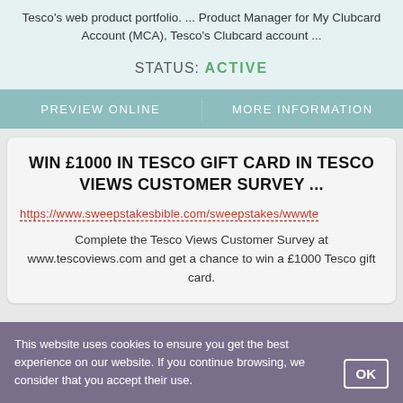Tesco's web product portfolio. ... Product Manager for My Clubcard Account (MCA), Tesco's Clubcard account ...
STATUS: ACTIVE
PREVIEW ONLINE
MORE INFORMATION
WIN £1000 IN TESCO GIFT CARD IN TESCO VIEWS CUSTOMER SURVEY ...
https://www.sweepstakesbible.com/sweepstakes/wwwte
Complete the Tesco Views Customer Survey at www.tescoviews.com and get a chance to win a £1000 Tesco gift card.
This website uses cookies to ensure you get the best experience on our website. If you continue browsing, we consider that you accept their use.